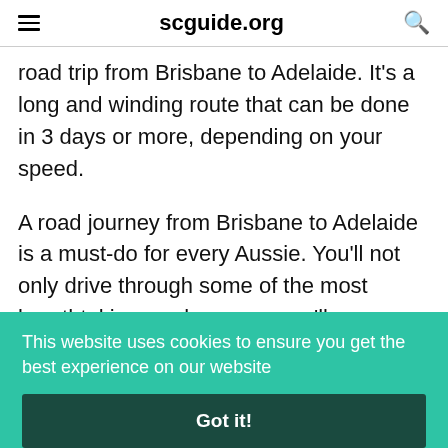scguide.org
road trip from Brisbane to Adelaide. It's a long and winding route that can be done in 3 days or more, depending on your speed.
A road journey from Brisbane to Adelaide is a must-do for every Aussie. You'll not only drive through some of the most breathtaking rural scenery you'll ever see, but you'll also get to
This website uses cookies to ensure you get the best experience on our website
Got it!